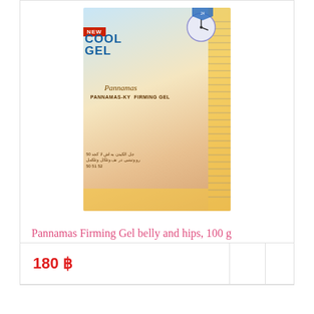[Figure (photo): Product photo of Pannamas Firming Gel packaging showing a woman's figure and product text including 'NEW', 'COOL GEL', 'Pannamas', 'PANNAMAS-KY FIRMING GEL' with Arabic text and measurement tape graphics]
Pannamas Firming Gel belly and hips, 100 g
Thai firming gel for the stomach, thighs, and buttocks with a cooling effect, effectively removes the fat,...
180 ฿